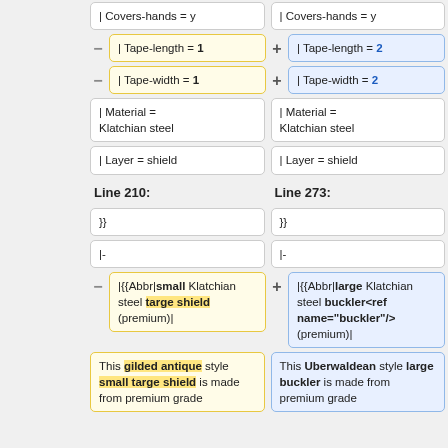| Covers-hands = y  |  Covers-hands = y
| Tape-length = 1  |  | Tape-length = 2
| Tape-width = 1  |  | Tape-width = 2
| Material = Klatchian steel  |  | Material = Klatchian steel
| Layer = shield  |  | Layer = shield
Line 210:  |  Line 273:
}}  |  }}
|-  |  |-
|{{Abbr|small Klatchian steel targe shield (premium)|  |  |{{Abbr|large Klatchian steel buckler<ref name="buckler"/> (premium)|
This gilded antique style small targe shield is made from premium grade  |  This Uberwaldean style large buckler is made from premium grade